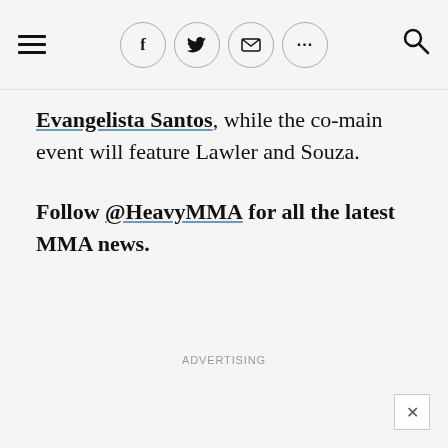Navigation header with hamburger menu, social icons (Facebook, Twitter, Email, More), and search icon
Evangelista Santos, while the co-main event will feature Lawler and Souza.
Follow @HeavyMMA for all the latest MMA news.
ADVERTISING